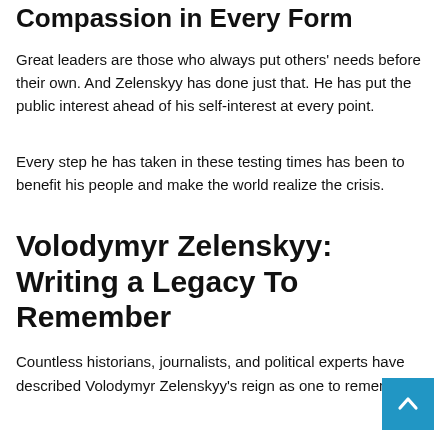Compassion in Every Form
Great leaders are those who always put others' needs before their own. And Zelenskyy has done just that. He has put the public interest ahead of his self-interest at every point.
Every step he has taken in these testing times has been to benefit his people and make the world realize the crisis.
Volodymyr Zelenskyy: Writing a Legacy To Remember
Countless historians, journalists, and political experts have described Volodymyr Zelenskyy's reign as one to remember.